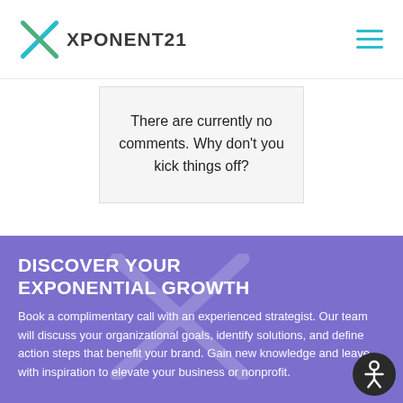XPONENT21
There are currently no comments. Why don't you kick things off?
DISCOVER YOUR EXPONENTIAL GROWTH
Book a complimentary call with an experienced strategist. Our team will discuss your organizational goals, identify solutions, and define action steps that benefit your brand. Gain new knowledge and leave with inspiration to elevate your business or nonprofit.